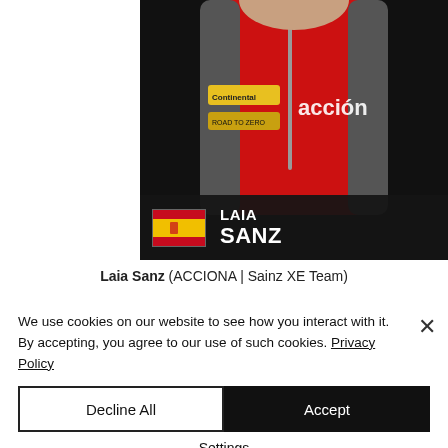[Figure (photo): Racing driver Laia Sanz wearing a red ACCIONA racing suit with Continental and other sponsor logos, photographed from mid-torso up against a dark background.]
Laia Sanz (ACCIONA | Sainz XE Team)
We use cookies on our website to see how you interact with it. By accepting, you agree to our use of such cookies. Privacy Policy
Decline All
Accept
Settings